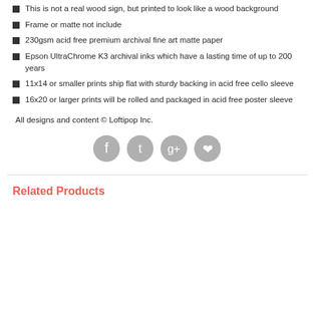This is not a real wood sign, but printed to look like a wood background
Frame or matte not include
230gsm acid free premium archival fine art matte paper
Epson UltraChrome K3 archival inks which have a lasting time of up to 200 years
11x14 or smaller prints ship flat with sturdy backing in acid free cello sleeve
16x20 or larger prints will be rolled and packaged in acid free poster sleeve
All designs and content © Loftipop Inc.
[Figure (other): Social media icons: Facebook, Twitter, Google+, Pinterest — grey circular icons]
Related Products